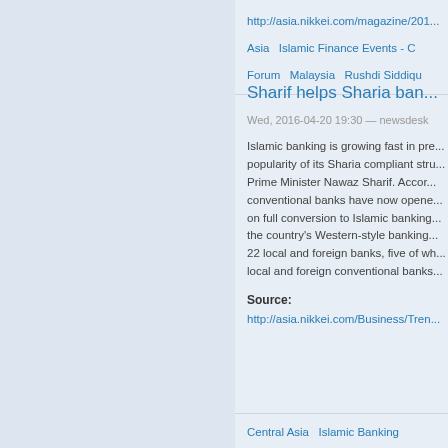http://asia.nikkei.com/magazine/201...    Asia    Islamic Finance Events - C    Forum    Malaysia    Rushdi Siddiqu
Sharif helps Sharia ban...
Wed, 2016-04-20 19:30 — newsdesk
Islamic banking is growing fast in pre... popularity of its Sharia compliant stru... Prime Minister Nawaz Sharif. Accor... conventional banks have now opene... on full conversion to Islamic banking... the country's Western-style banking... 22 local and foreign banks, five of wh... local and foreign conventional banks...
Source:
http://asia.nikkei.com/Business/Tren...
Central Asia    Islamic Banking